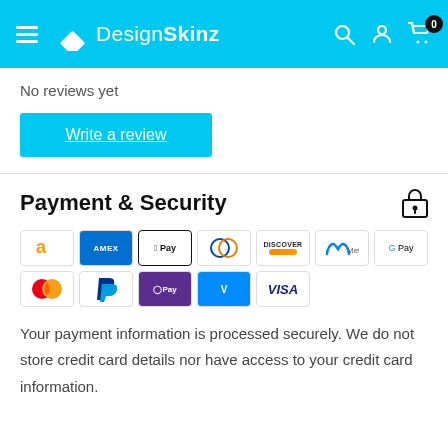DesignSkinz
No reviews yet
Write a review
Payment & Security
[Figure (infographic): Payment method icons: Amazon, Amex, Apple Pay, Diners Club, Discover, Meta, Google Pay, Mastercard, PayPal, OPay, Venmo, Visa]
Your payment information is processed securely. We do not store credit card details nor have access to your credit card information.